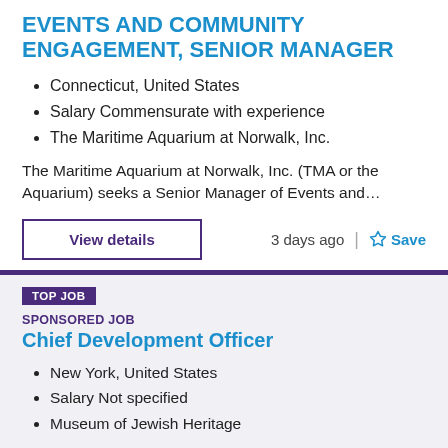EVENTS AND COMMUNITY ENGAGEMENT, SENIOR MANAGER
Connecticut, United States
Salary Commensurate with experience
The Maritime Aquarium at Norwalk, Inc.
The Maritime Aquarium at Norwalk, Inc. (TMA or the Aquarium) seeks a Senior Manager of Events and…
View details
3 days ago
Save
TOP JOB
SPONSORED JOB
Chief Development Officer
New York, United States
Salary Not specified
Museum of Jewish Heritage
The Aspen Leadership Group is proud to partner with